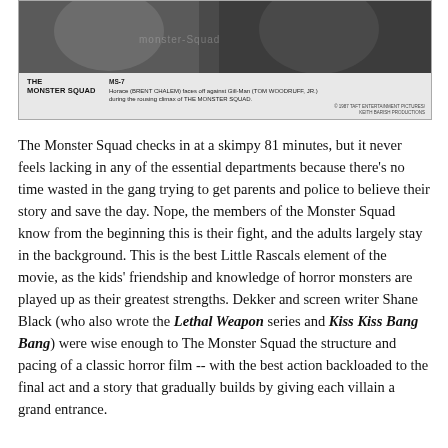[Figure (photo): Black and white movie still showing Horace facing off against Gill-Man during the climax of The Monster Squad. Caption reads: MS-7, Horace (BRENT CHALEM) faces off against Gill-Man (TOM WOODRUFF, JR.) during the rousing climax of THE MONSTER SQUAD. Copyright 1987 TAFT ENTERTAINMENT PICTURES / KEITH BARISH PRODUCTIONS.]
The Monster Squad checks in at a skimpy 81 minutes, but it never feels lacking in any of the essential departments because there's no time wasted in the gang trying to get parents and police to believe their story and save the day. Nope, the members of the Monster Squad know from the beginning this is their fight, and the adults largely stay in the background. This is the best Little Rascals element of the movie, as the kids' friendship and knowledge of horror monsters are played up as their greatest strengths. Dekker and screen writer Shane Black (who also wrote the Lethal Weapon series and Kiss Kiss Bang Bang) were wise enough to The Monster Squad the structure and pacing of a classic horror film -- with the best action backloaded to the final act and a story that gradually builds by giving each villain a grand entrance.